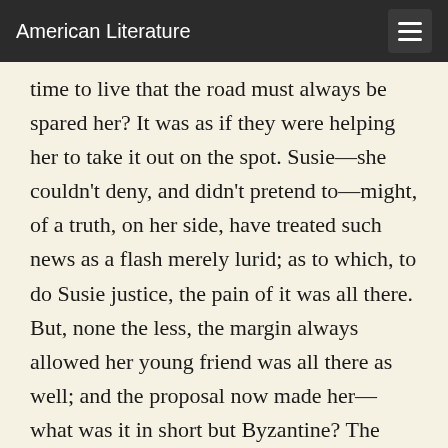American Literature
time to live that the road must always be spared her? It was as if they were helping her to take it out on the spot. Susie—she couldn't deny, and didn't pretend to—might, of a truth, on her side, have treated such news as a flash merely lurid; as to which, to do Susie justice, the pain of it was all there. But, none the less, the margin always allowed her young friend was all there as well; and the proposal now made her—what was it in short but Byzantine? The vision of Milly's perception of the propriety of the matter had, at any rate, quickly engulfed, so far as her attitude was concerned, any surprise and any shock; so that she only desired, the next thing, perfectly to possess the facts. Milly